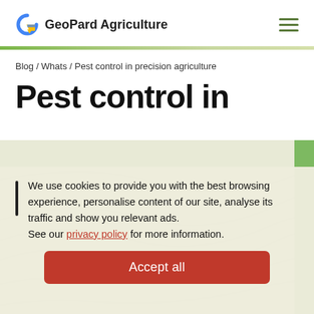[Figure (logo): GeoPard Agriculture logo with stylized G icon in blue/yellow]
GeoPard Agriculture
Blog / Whats / Pest control in precision agriculture
Pest control in
We use cookies to provide you with the best browsing experience, personalise content of our site, analyse its traffic and show you relevant ads.
See our privacy policy for more information.
Accept all